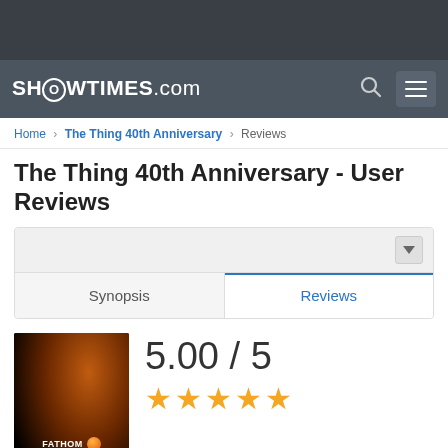[Figure (screenshot): Dark browser chrome area at top]
SH⊙WTIMES.com
Home › The Thing 40th Anniversary › Reviews
The Thing 40th Anniversary - User Reviews
[Figure (screenshot): Tab card with Synopsis and Reviews tabs, Reviews tab active with blue indicator]
[Figure (photo): Movie thumbnail - Fathom Events Coming Soon poster on dark background with orange glow]
5.00 / 5
[Figure (other): 5 orange stars rating display]
[Figure (other): 4 orange stars and partial text showing 100.00%]
100.00%